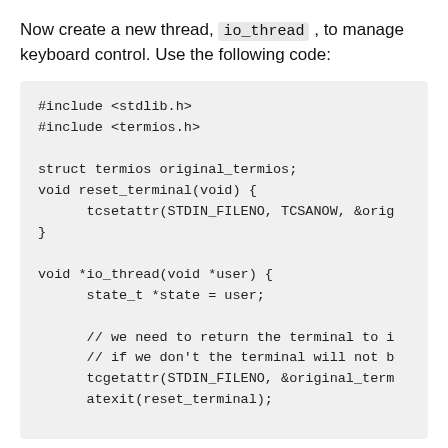Now create a new thread, io_thread , to manage keyboard control. Use the following code: